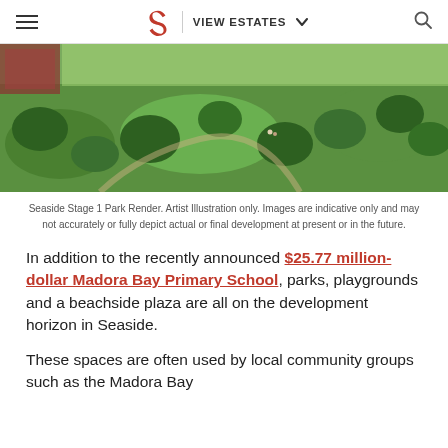VIEW ESTATES
[Figure (photo): Aerial render of Seaside Stage 1 Park showing green lawns, trees, and park areas with people]
Seaside Stage 1 Park Render. Artist Illustration only. Images are indicative only and may not accurately or fully depict actual or final development at present or in the future.
In addition to the recently announced $25.77 million-dollar Madora Bay Primary School, parks, playgrounds and a beachside plaza are all on the development horizon in Seaside.
These spaces are often used by local community groups such as the Madora Bay